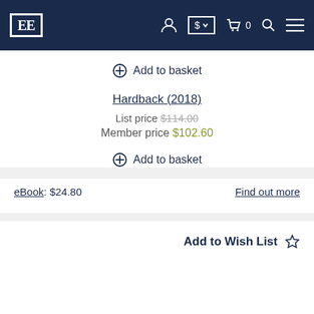EE logo navigation bar with account, currency ($), cart (0), search, and menu icons
Add to basket
Hardback (2018)
List price $114.00
Member price $102.60
Add to basket
eBook: $24.80   Find out more
Add to Wish List ☆